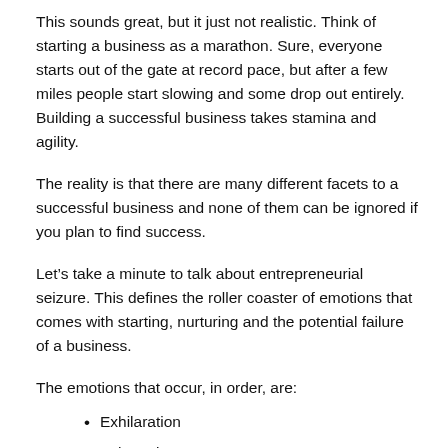This sounds great, but it just not realistic. Think of starting a business as a marathon. Sure, everyone starts out of the gate at record pace, but after a few miles people start slowing and some drop out entirely. Building a successful business takes stamina and agility.
The reality is that there are many different facets to a successful business and none of them can be ignored if you plan to find success.
Let’s take a minute to talk about entrepreneurial seizure. This defines the roller coaster of emotions that comes with starting, nurturing and the potential failure of a business.
The emotions that occur, in order, are:
Exhilaration
Exhaustion
Despair
Sense of self-loss